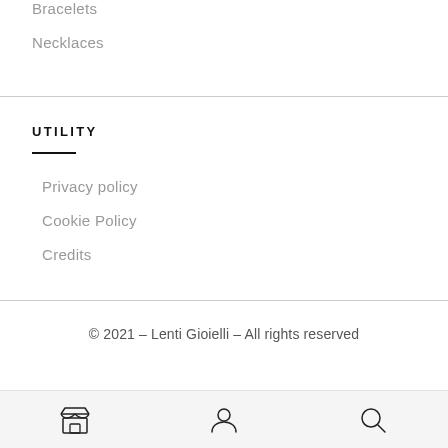Bracelets
Necklaces
UTILITY
Privacy policy
Cookie Policy
Credits
© 2021 – Lenti Gioielli – All rights reserved